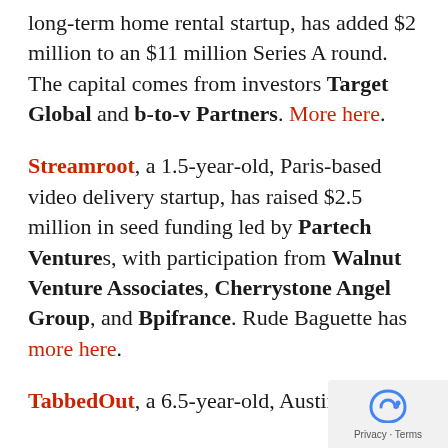long-term home rental startup, has added $2 million to an $11 million Series A round. The capital comes from investors Target Global and b-to-v Partners. More here.
Streamroot, a 1.5-year-old, Paris-based video delivery startup, has raised $2.5 million in seed funding led by Partech Ventures, with participation from Walnut Venture Associates, Cherrystone Angel Group, and Bpifrance. Rude Baguette has more here.
TabbedOut, a 6.5-year-old, Austin